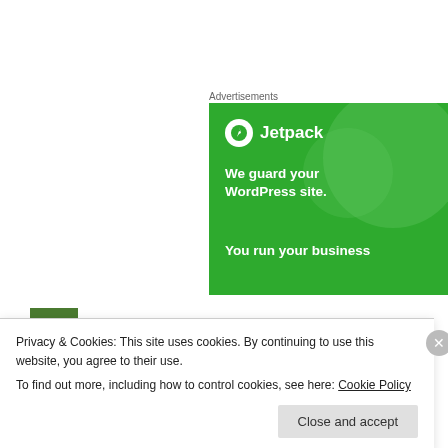Advertisements
[Figure (illustration): Jetpack advertisement banner on green background with logo, text 'We guard your WordPress site.' and 'You run your business']
Keith H says:
Privacy & Cookies: This site uses cookies. By continuing to use this website, you agree to their use.
To find out more, including how to control cookies, see here: Cookie Policy
Close and accept